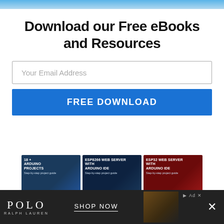Download our Free eBooks and Resources
Your Email Address
FREE DOWNLOAD
[Figure (illustration): Three ebook covers displayed side by side: '18+ Arduino Projects', 'ESP8266 Web Server with Arduino IDE', and 'ESP32 Web Server with Arduino IDE'. Below them are two more items: an 'Ultimate Guide for Arduino' green book cover and an 'Arduino Mini Course' blue promotional box.]
[Figure (photo): Advertisement banner for Polo Ralph Lauren showing logo, 'SHOP NOW' text, and a photo of accessories (hat, bottle) on dark background.]